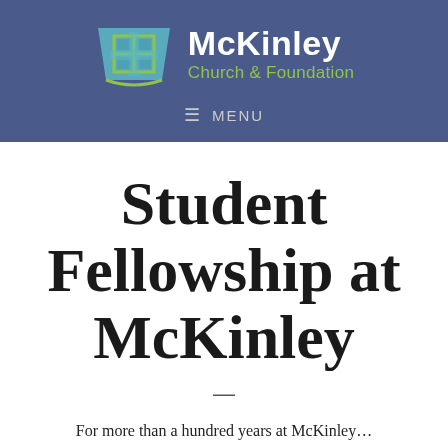[Figure (logo): McKinley Church & Foundation logo with teal/green geometric cross icon and white and green text on blue background]
≡  MENU
Student Fellowship at McKinley
–
For more than a hundred years at McKinley...